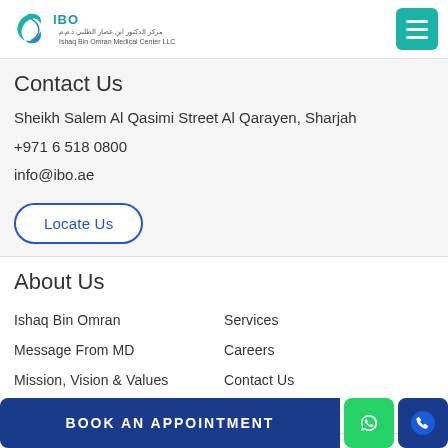[Figure (logo): IBO - Ishaq Bin Omran Medical Center LLC logo with teal Arabic calligraphy icon]
Contact Us
Sheikh Salem Al Qasimi Street Al Qarayen, Sharjah
+971 6 518 0800
info@ibo.ae
Locate Us
About Us
Ishaq Bin Omran
Message From MD
Mission, Vision & Values
Our Team
Services
Careers
Contact Us
BOOK AN APPOINTMENT